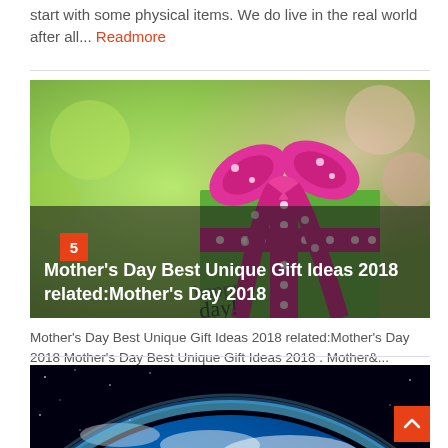start with some physical items. We do live in the real world after all... Readmore
[Figure (photo): Green gift box wrapped with pink polka-dot ribbon and bow, with a handwritten 'happy day!' tag. Number badge '5' in red square at top-left. Title overlay reads: Mother's Day Best Unique Gift Ideas 2018 related:Mother's Day 2018]
Mother's Day Best Unique Gift Ideas 2018 related:Mother's Day 2018 Mother's Day Best Unique Gift Ideas 2018 . Mother&... Readmore
[Figure (photo): Earth from space view showing the planet's curved horizon with blue and white atmosphere against black space background]